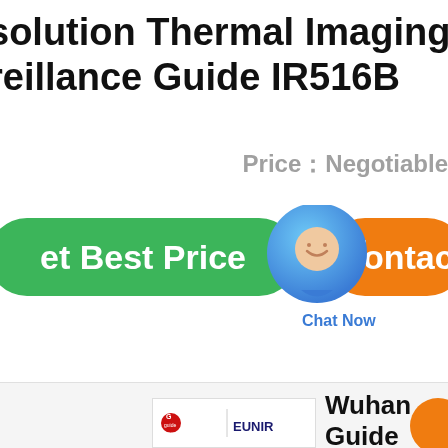resolution Thermal Imaging Binoculars Surveillance Guide IR516B
Price：Negotiable
[Figure (screenshot): Green 'Get Best Price' button, blue chat bubble with 'Chat Now' label, orange 'Contact' button UI elements]
[Figure (logo): Guide Sensman | EUNIR logo in white box]
Wuhan Guide